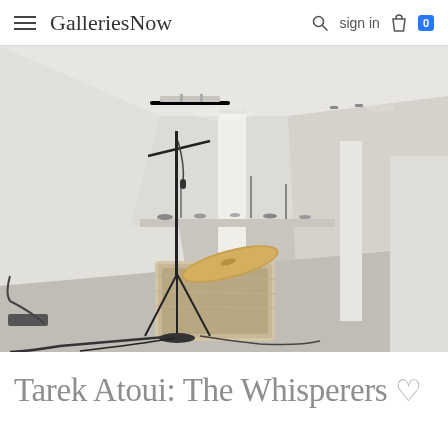GalleriesNow  sign in  0
[Figure (photo): Gallery interior with white walls, a stone basin with a cymbal and microphone stand installation in the foreground, and a low platform with scattered objects in the background. The space has track lighting on the ceiling and multiple white columns.]
Tarek Atoui: The Whisperers ♡